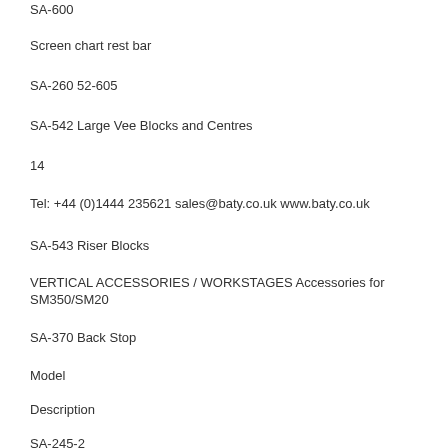SA-600
Screen chart rest bar
SA-260 52-605
SA-542 Large Vee Blocks and Centres
14
Tel: +44 (0)1444 235621 sales@baty.co.uk www.baty.co.uk
SA-543 Riser Blocks
VERTICAL ACCESSORIES / WORKSTAGES Accessories for SM350/SM20
SA-370 Back Stop
Model
Description
SA-245-2